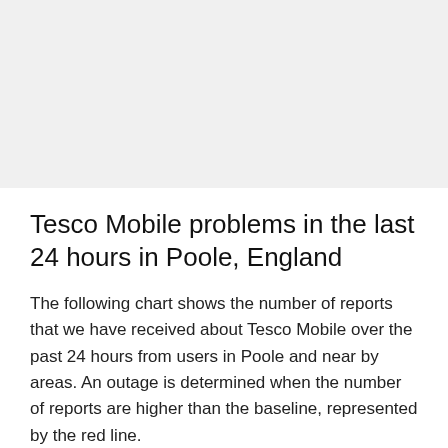[Figure (other): Grey placeholder area representing a chart that is not yet visible]
Tesco Mobile problems in the last 24 hours in Poole, England
The following chart shows the number of reports that we have received about Tesco Mobile over the past 24 hours from users in Poole and near by areas. An outage is determined when the number of reports are higher than the baseline, represented by the red line.